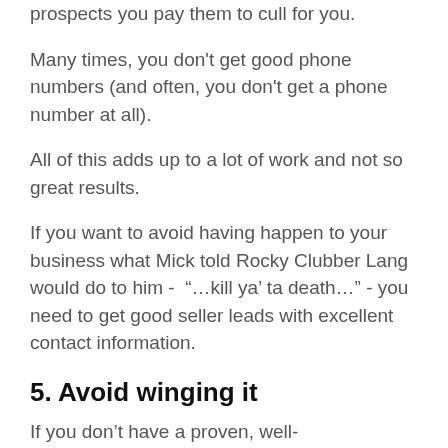prospects you pay them to cull for you.
Many times, you don't get good phone numbers (and often, you don't get a phone number at all).
All of this adds up to a lot of work and not so great results.
If you want to avoid having happen to your business what Mick told Rocky Clubber Lang would do to him - “…kill ya’ ta death…” - you need to get good seller leads with excellent contact information.
5. Avoid winging it
If you don't have a proven, well-